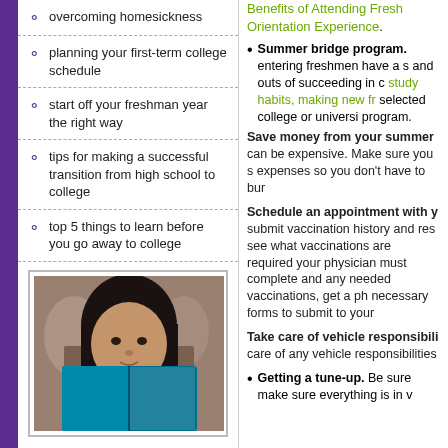overcoming homesickness
planning your first-term college schedule
start off your freshman year the right way
tips for making a successful transition from high school to college
top 5 things to learn before you go away to college
[Figure (photo): Young woman reading a teal/blue book in a classroom setting]
Benefits of Attending Fresh Orientation Experience.
Summer bridge program. entering freshmen have a s and outs of succeeding in c study habits, making new fr selected college or universi program.
Save money from your summer can be expensive. Make sure you s expenses so you don't have to bur
Schedule an appointment with y submit vaccination history and res see what vaccinations are required your physician must complete and any needed vaccinations, get a ph necessary forms to submit to your
Take care of vehicle responsibili care of any vehicle responsibilities
Getting a tune-up. Be sure make sure everything is in v